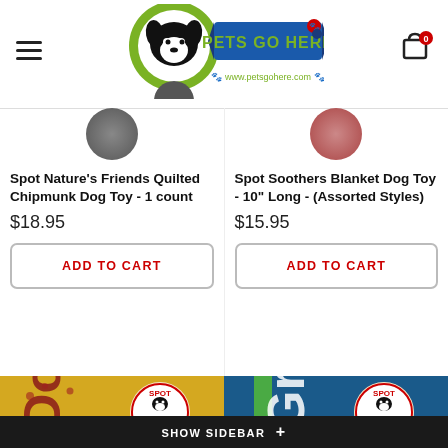[Figure (screenshot): Pets Go Here website header with logo, hamburger menu, and cart icon]
Spot Nature's Friends Quilted Chipmunk Dog Toy - 1 count
$18.95
ADD TO CART
Spot Soothers Blanket Dog Toy - 10" Long - (Assorted Styles)
$15.95
ADD TO CART
[Figure (photo): Dog toy product - Doggie Fun Candy yellow packaging]
[Figure (photo): Dog toy product - Grab Fun Candy blue packaging]
SHOW SIDEBAR +